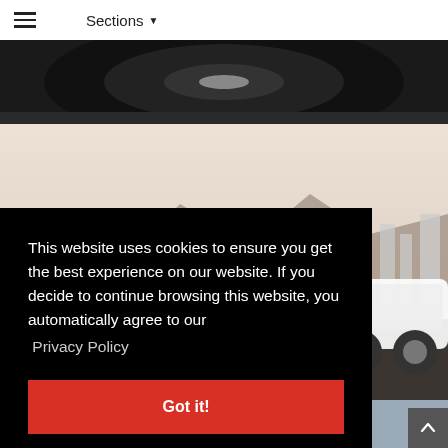Sections
[Figure (photo): Close-up of dark car wheel/tire on dark background]
[Figure (photo): Car parked on rooftop or elevated area with cityscape and mountains in background, hazy sky]
This website uses cookies to ensure you get the best experience on our website. If you decide to continue browsing this website, you automatically agree to our
Privacy Policy
Got it!